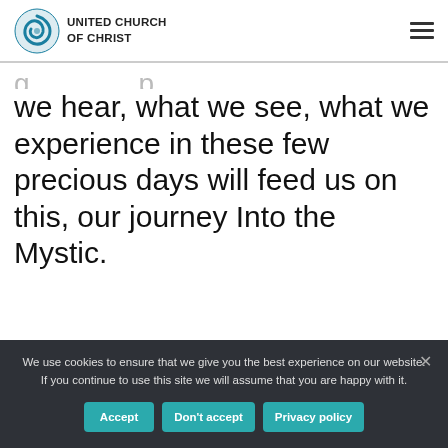UNITED CHURCH OF CHRIST
we hear, what we see, what we experience in these few precious days will feed us on this, our journey Into the Mystic.
We use cookies to ensure that we give you the best experience on our website. If you continue to use this site we will assume that you are happy with it.